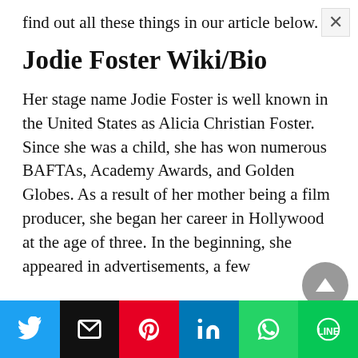find out all these things in our article below.
Jodie Foster Wiki/Bio
Her stage name Jodie Foster is well known in the United States as Alicia Christian Foster. Since she was a child, she has won numerous BAFTAs, Academy Awards, and Golden Globes. As a result of her mother being a film producer, she began her career in Hollywood at the age of three. In the beginning, she appeared in advertisements, a few
[Figure (infographic): Social sharing bar with Twitter, Email, Pinterest, LinkedIn, WhatsApp, and LINE buttons]